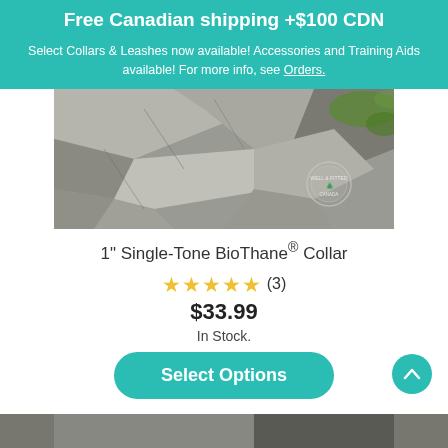Free Canadian shipping +$100 CDN
Select Collars & Leashes now available! Accessories and Training Aids available! For more info, see Orders.
[Figure (photo): Close-up photo of a gray rocky surface with some green moss visible, and a circular brand logo/watermark in the lower right area]
1" Single-Tone BioThane® Collar
★★★★★ (3)
$33.99
In Stock.
Select Options